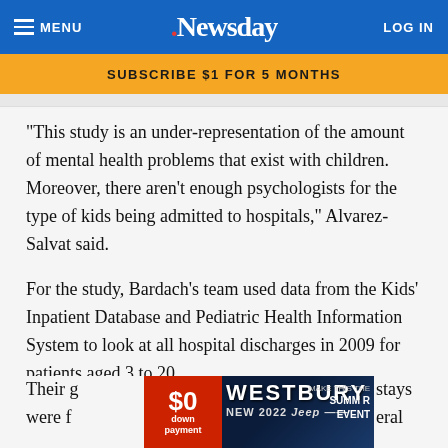≡ MENU  Newsday  LOG IN
SUBSCRIBE $1 FOR 5 MONTHS
"This study is an under-representation of the amount of mental health problems that exist with children. Moreover, there aren't enough psychologists for the type of kids being admitted to hospitals," Alvarez-Salvat said.
For the study, Bardach's team used data from the Kids' Inpatient Database and Pediatric Health Information System to look at all hospital discharges in 2009 for patients aged 3 to 20.
Their g[...] stays were f[...] eral
[Figure (other): Westbury Jeep advertisement banner with $0 down payment offer, NEW 2022 Jeep, Summer Event branding on dark blue background]